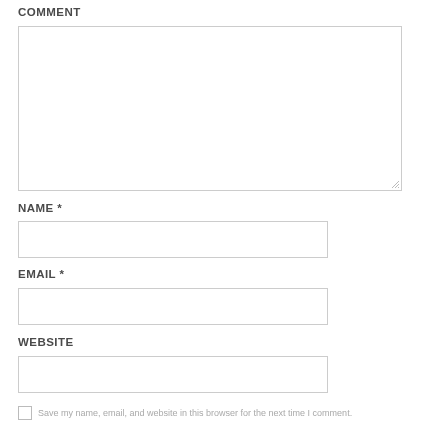COMMENT
[Figure (other): Large empty comment textarea input box]
NAME *
[Figure (other): Single-line text input box for name]
EMAIL *
[Figure (other): Single-line text input box for email]
WEBSITE
[Figure (other): Single-line text input box for website]